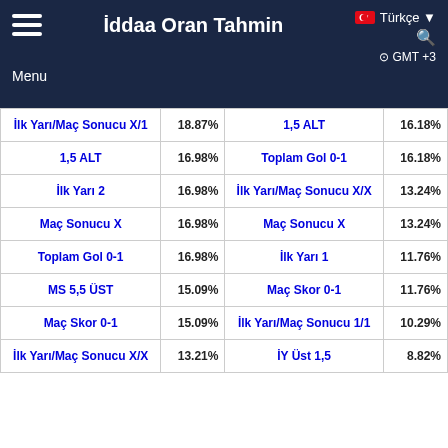İddaa Oran Tahmin | Menu | Türkçe | GMT +3
| Bet Name (Left) | % (Left) | Bet Name (Right) | % (Right) |
| --- | --- | --- | --- |
| İlk Yarı/Maç Sonucu X/1 | 18.87% | 1,5 ALT | 16.18% |
| 1,5 ALT | 16.98% | Toplam Gol 0-1 | 16.18% |
| İlk Yarı 2 | 16.98% | İlk Yarı/Maç Sonucu X/X | 13.24% |
| Maç Sonucu X | 16.98% | Maç Sonucu X | 13.24% |
| Toplam Gol 0-1 | 16.98% | İlk Yarı 1 | 11.76% |
| MS 5,5 ÜST | 15.09% | Maç Skor 0-1 | 11.76% |
| Maç Skor 0-1 | 15.09% | İlk Yarı/Maç Sonucu 1/1 | 10.29% |
| İlk Yarı/Maç Sonucu X/X | 13.21% | İY Üst 1,5 | 8.82% |